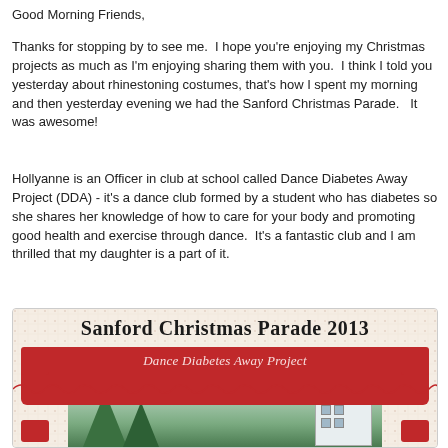Good Morning Friends,
Thanks for stopping by to see me.  I hope you're enjoying my Christmas projects as much as I'm enjoying sharing them with you.  I think I told you yesterday about rhinestoning costumes, that's how I spent my morning and then yesterday evening we had the Sanford Christmas Parade.   It was awesome!
Hollyanne is an Officer in club at school called Dance Diabetes Away Project (DDA) - it's a dance club formed by a student who has diabetes so she shares her knowledge of how to care for your body and promoting good health and exercise through dance.  It's a fantastic club and I am thrilled that my daughter is a part of it.
[Figure (illustration): Decorative banner image for Sanford Christmas Parade 2013 featuring a red ornate frame with the text 'Sanford Christmas Parade 2013' at the top and 'Dance Diabetes Away Project' in the red frame, with wavy decorative lines and a photo of trees and a building in the center.]